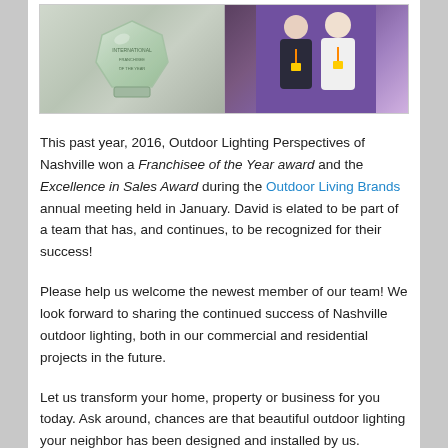[Figure (photo): Two photos side by side: left shows a glass award trophy, right shows two men in suits at an event]
This past year, 2016, Outdoor Lighting Perspectives of Nashville won a Franchisee of the Year award and the Excellence in Sales Award during the Outdoor Living Brands annual meeting held in January. David is elated to be part of a team that has, and continues, to be recognized for their success!
Please help us welcome the newest member of our team! We look forward to sharing the continued success of Nashville outdoor lighting, both in our commercial and residential projects in the future.
Let us transform your home, property or business for you today. Ask around, chances are that beautiful outdoor lighting your neighbor has been designed and installed by us.  Contact Outdoor Lighting Perspectives of Nashville at